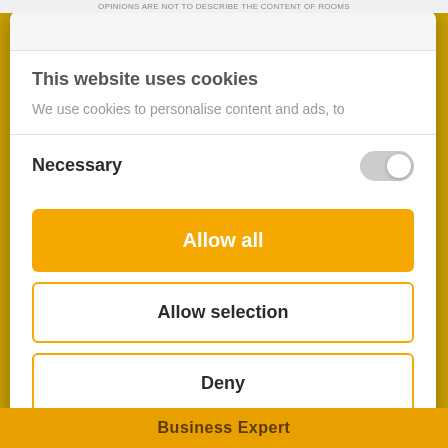OPINIONS ARE NOT TO DESCRIBE THE CONTENT OF ROOMS
This website uses cookies
We use cookies to personalise content and ads, to
Necessary
Allow all
Allow selection
Deny